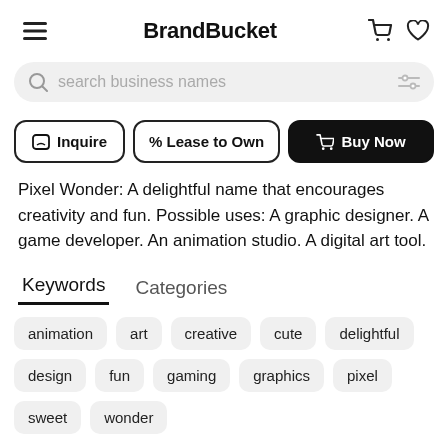BrandBucket
search business names
Inquire  % Lease to Own  Buy Now
Pixel Wonder: A delightful name that encourages creativity and fun. Possible uses: A graphic designer. A game developer. An animation studio. A digital art tool.
Keywords  Categories
animation
art
creative
cute
delightful
design
fun
gaming
graphics
pixel
sweet
wonder